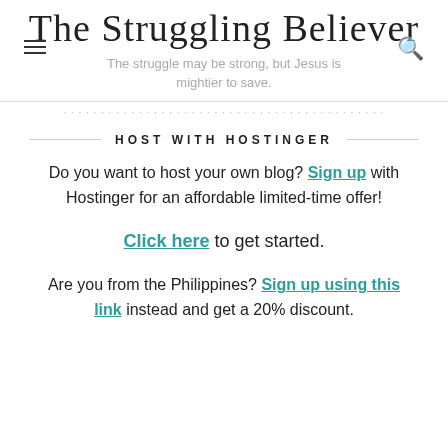The Struggling Believer
The struggle may be strong, but Jesus is mightier to save.
HOST WITH HOSTINGER
Do you want to host your own blog? Sign up with Hostinger for an affordable limited-time offer!
Click here to get started.
Are you from the Philippines? Sign up using this link instead and get a 20% discount.